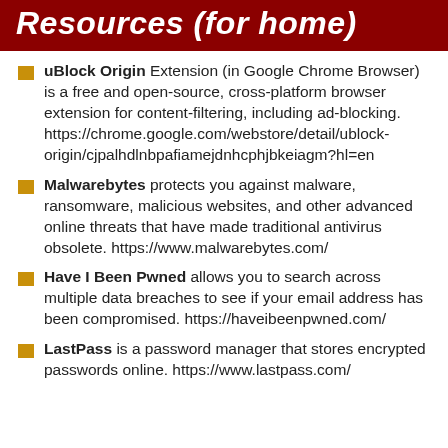Resources (for home)
uBlock Origin Extension (in Google Chrome Browser) is a free and open-source, cross-platform browser extension for content-filtering, including ad-blocking. https://chrome.google.com/webstore/detail/ublock-origin/cjpalhdlnbpafiamejdnhcphjbkeiagm?hl=en
Malwarebytes protects you against malware, ransomware, malicious websites, and other advanced online threats that have made traditional antivirus obsolete. https://www.malwarebytes.com/
Have I Been Pwned allows you to search across multiple data breaches to see if your email address has been compromised. https://haveibeenpwned.com/
LastPass is a password manager that stores encrypted passwords online. https://www.lastpass.com/